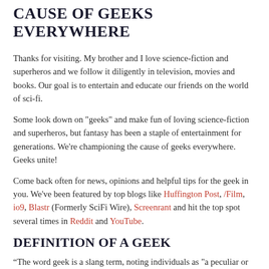CAUSE OF GEEKS EVERYWHERE
Thanks for visiting. My brother and I love science-fiction and superheros and we follow it diligently in television, movies and books. Our goal is to entertain and educate our friends on the world of sci-fi.
Some look down on "geeks" and make fun of loving science-fiction and superheros, but fantasy has been a staple of entertainment for generations. We're championing the cause of geeks everywhere. Geeks unite!
Come back often for news, opinions and helpful tips for the geek in you. We've been featured by top blogs like Huffington Post, /Film, io9, Blastr (Formerly SciFi Wire), Screenrant and hit the top spot several times in Reddit and YouTube.
DEFINITION OF A GEEK
“The word geek is a slang term, noting individuals as "a peculiar or otherwise odd person, especially one who is perceived to be overly